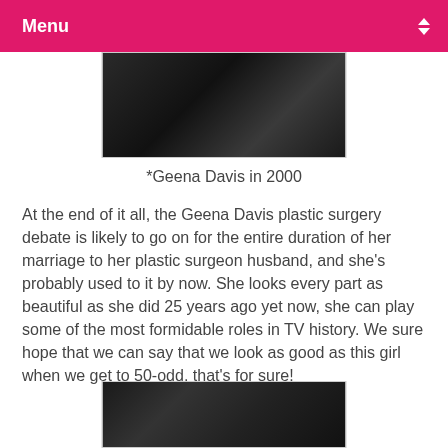Menu
[Figure (photo): Black and white close-up photo, partially visible at top of page]
*Geena Davis in 2000
At the end of it all, the Geena Davis plastic surgery debate is likely to go on for the entire duration of her marriage to her plastic surgeon husband, and she's probably used to it by now. She looks every part as beautiful as she did 25 years ago yet now, she can play some of the most formidable roles in TV history. We sure hope that we can say that we look as good as this girl when we get to 50-odd, that's for sure!
[Figure (photo): Photo of a woman and man at what appears to be an awards event, partially visible at bottom of page]